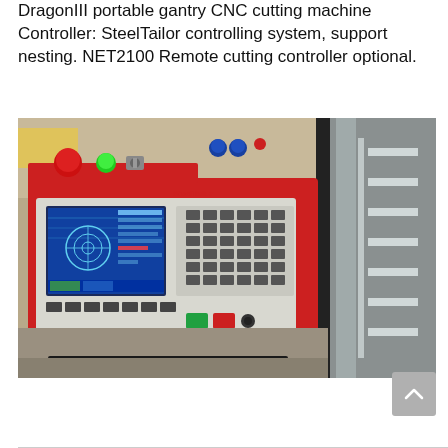DragonIII portable gantry CNC cutting machine Controller: SteelTailor controlling system, support nesting. NET2100 Remote cutting controller optional.
[Figure (photo): Close-up photo of a SteelTailor CNC cutting machine controller unit. The controller is red and white, featuring a color LCD touchscreen display showing CNC graphics, a keypad with multiple buttons, a joystick, an emergency stop (red mushroom button), a green indicator light, a key switch on top, and green and red push buttons on the front panel. The right side of the image shows a metal rail/track of the gantry machine.]